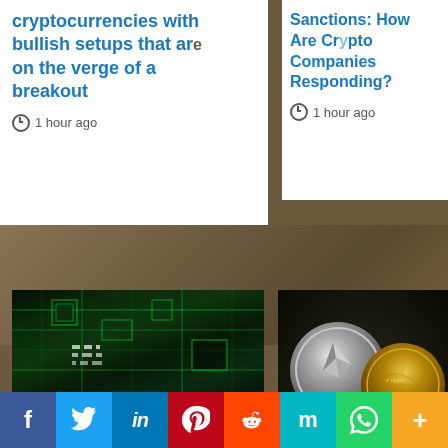cryptocurrencies with bullish setups that are on the verge of a breakout
1 hour ago
Sanctions: How Are Crypto Companies Responding?
1 hour ago
[Figure (photo): Circuit board with green digital display, representing cryptocurrency technology]
[Figure (photo): Cryptocurrency coins including Ethereum, Bitcoin, and Ripple on dark background]
WHERE ARE WE?
THE FUTURE OF CRYPTOCURRENCY
The use of cryptocurrencies is a rich history of innovation disrupting the future of financial system. The biggest driver is that the cost of financial transactions were simpler to accomplish early, lower than transactions costs in the traditional economy.
Trending Crypto news
Trending Crypto news
The Future of
How Do the Differe
f  Twitter  in  Pinterest  Reddit  Mix  WhatsApp  More